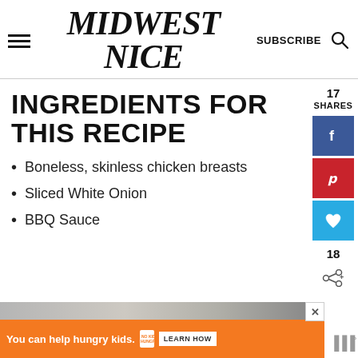MIDWEST NICE
INGREDIENTS FOR THIS RECIPE
Boneless, skinless chicken breasts
Sliced White Onion
BBQ Sauce
17 SHARES
[Figure (screenshot): Social share sidebar with Facebook, Pinterest, and heart/save buttons showing 17 shares and 18 shares counters]
[Figure (photo): Bottom portion of a food photo, partially visible]
You can help hungry kids. NO KID HUNGRY LEARN HOW